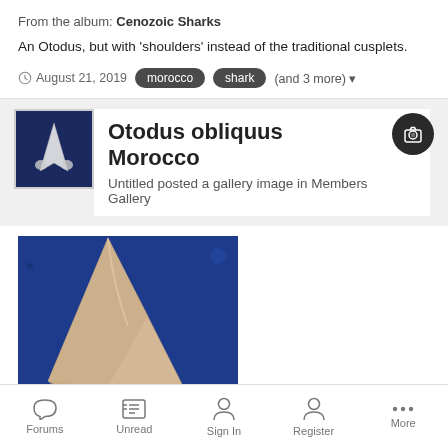From the album: Cenozoic Sharks
An Otodus, but with 'shoulders' instead of the traditional cusplets.
August 21, 2019  morocco  shark  (and 3 more)
[Figure (photo): Thumbnail of a white shark tooth on dark blue background]
Otodus obliquus Morocco
Untitled posted a gallery image in Members Gallery
[Figure (photo): Close-up photo of a large shark tooth (Otodus obliquus) against a dark blue background, showing the pointed cusp without cusplets]
Forums  Unread  Sign In  Register  More